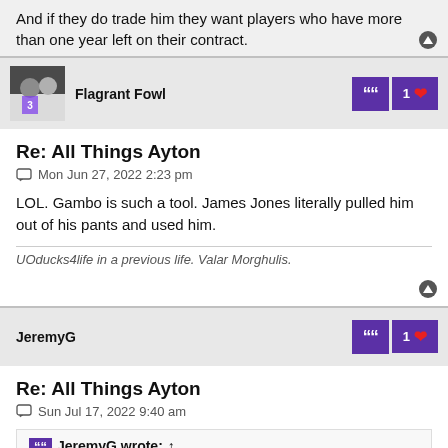And if they do trade him they want players who have more than one year left on their contract.
Flagrant Fowl
Re: All Things Ayton
Mon Jun 27, 2022 2:23 pm
LOL. Gambo is such a tool. James Jones literally pulled him out of his pants and used him.
UOducks4life in a previous life. Valar Morghulis.
JeremyG
Re: All Things Ayton
Sun Jul 17, 2022 9:40 am
JeremyG wrote: ↑
Gambo just said that the people he is speaking to in the Suns organization say that their best guess is that Ayton stays on the Suns.